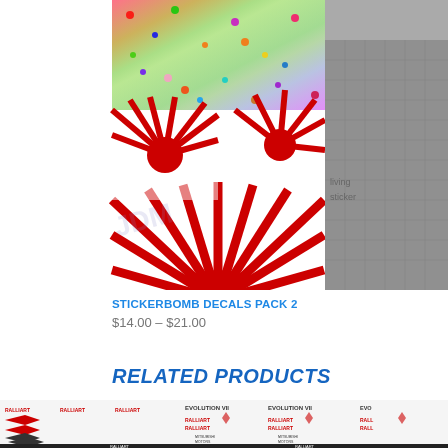[Figure (photo): Stickerbomb Decals Pack 2 product images showing colorful noise/confetti pattern on top and Japanese rising sun red and white starburst pattern on bottom-left, and a stickerbomb character collage on the right side]
STICKERBOMB DECALS PACK 2
$14.00 – $21.00
RELATED PRODUCTS
[Figure (photo): Related product image showing Mitsubishi Ralliart Evolution VII decals sheet with various logos, badges and red/white/black racing decals]